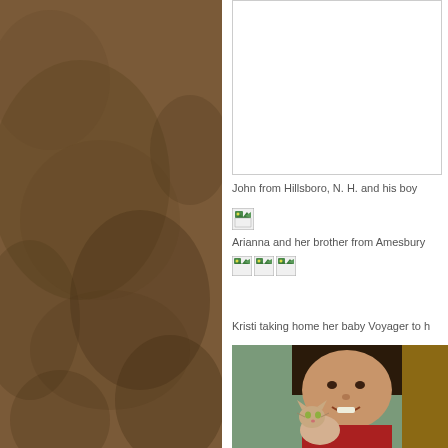[Figure (photo): White rectangular box, image placeholder at top right area]
John from Hillsboro, N. H. and his boy
[Figure (photo): Broken/missing image placeholder icon]
Arianna and her brother from Amesbury
[Figure (photo): Three broken/missing image placeholder icons]
Kristi taking home her baby Voyager to h
[Figure (photo): Photo of a young woman with dark hair smiling, holding a hairless cat (Sphynx), green wall in background]